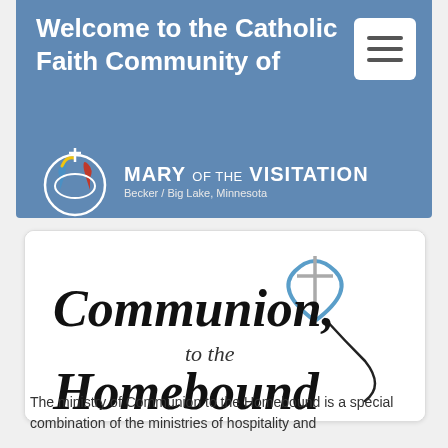Welcome to the Catholic Faith Community of
[Figure (logo): Mary of the Visitation church logo with circular figures and cross, blue background banner with church name MARY OF THE VISITATION, Becker / Big Lake, Minnesota]
[Figure (logo): Communion to the Homebound ministry logo with stylized cursive text and heart/cross graphic on white card]
The ministry of Communion to the Homebound is a special combination of the ministries of hospitality and